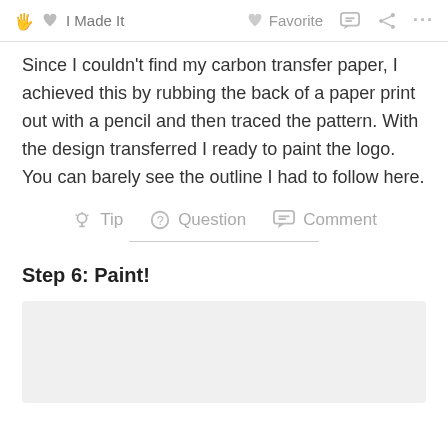I Made It  Favorite  Comment  Share  ...
Since I couldn't find my carbon transfer paper, I achieved this by rubbing the back of a paper print out with a pencil and then traced the pattern. With the design transferred I ready to paint the logo. You can barely see the outline I had to follow here.
Step 6: Paint!
[Figure (photo): Light gray placeholder image area for Step 6 paint photo]